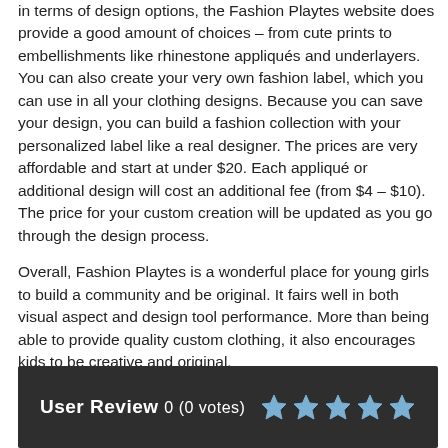in terms of design options, the Fashion Playtes website does provide a good amount of choices – from cute prints to embellishments like rhinestone appliqués and underlayers. You can also create your very own fashion label, which you can use in all your clothing designs. Because you can save your design, you can build a fashion collection with your personalized label like a real designer. The prices are very affordable and start at under $20. Each appliqué or additional design will cost an additional fee (from $4 – $10). The price for your custom creation will be updated as you go through the design process.
Overall, Fashion Playtes is a wonderful place for young girls to build a community and be original. It fairs well in both visual aspect and design tool performance. More than being able to provide quality custom clothing, it also encourages kids to be creative and original.
User Review 0 (0 votes)